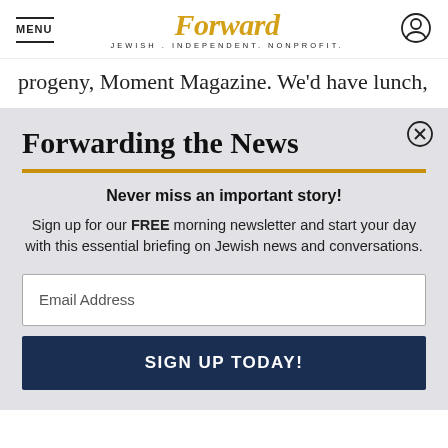MENU | Forward JEWISH. INDEPENDENT. NONPROFIT.
progeny, Moment Magazine. We'd have lunch,
Forwarding the News
Never miss an important story!
Sign up for our FREE morning newsletter and start your day with this essential briefing on Jewish news and conversations.
Email Address
SIGN UP TODAY!